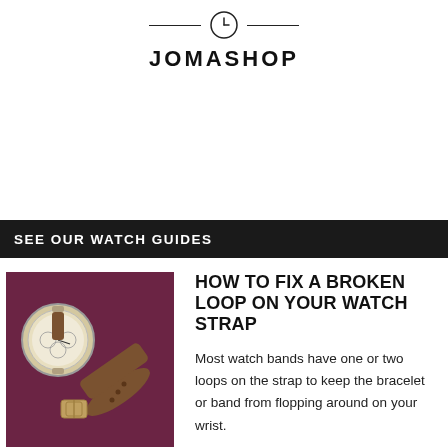JOMASHOP
SEE OUR WATCH GUIDES
[Figure (photo): Photo of a brown leather watch strap with holes and a buckle, next to a watch case, on a dark red/maroon background]
HOW TO FIX A BROKEN LOOP ON YOUR WATCH STRAP
Most watch bands have one or two loops on the strap to keep the bracelet or band from flopping around on your wrist.
Known by different names like hoop, retainer, loop, these